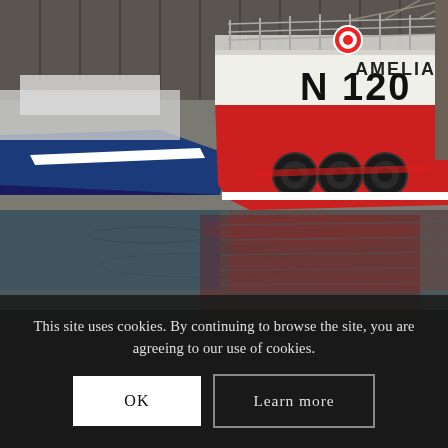[Figure (photo): Fishing boats moored at a harbour dock. The main vessel is red and white with black tyre fenders, labeled 'N 120 AMELIA'. A blue and white boat is partially visible to the left. The boats are reflected in the dark harbour water. A concrete/wooden dock structure is visible in the background.]
This site uses cookies. By continuing to browse the site, you are agreeing to our use of cookies.